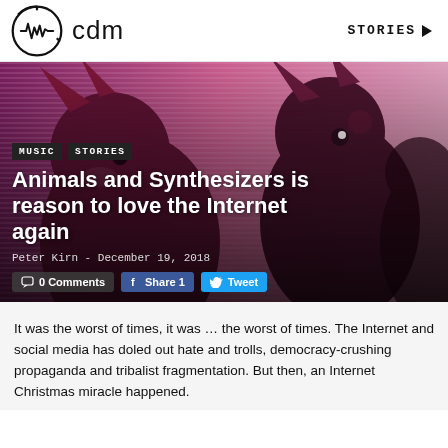cdm  STORIES
[Figure (photo): Hero image showing illustrated/animated animal characters (anthropomorphic animals with horns/ears) against a purple/pink horizontal striped background, with article title overlay]
Animals and Synthesizers is reason to love the Internet again
Peter Kirn - December 19, 2018
0 Comments  Share 1  Tweet
It was the worst of times, it was … the worst of times. The Internet and social media has doled out hate and trolls, democracy-crushing propaganda and tribalist fragmentation. But then, an Internet Christmas miracle happened.